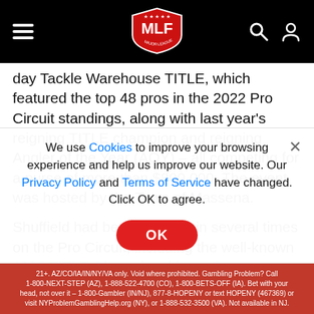MLF Major League Fishing navigation bar with hamburger menu, MLF logo, search and user icons
day Tackle Warehouse TITLE, which featured the top 48 pros in the 2022 Pro Circuit standings, along with last year's reigning TITLE champion and reigning Angler of the Year (AOY) – all competing for a purse of more than $800,000. The event was hosted by the Town of Massena.
Shuffield had been near a win several times on the Pro Circuit, including the well-known 2020 TITLE Championship on Sturgeon Bay, where bad weather prevented him from getting
We use Cookies to improve your browsing experience and help us improve our website. Our Privacy Policy and Terms of Service have changed. Click OK to agree.
21+. AZ/CO/IA/IN/NY/VA only. Void where prohibited. Gambling Problem? Call 1-800-NEXT-STEP (AZ), 1-888-522-4700 (CO), 1-800-BETS-OFF (IA). Bet with your head, not over it – 1-800-Gambler (IN/NJ), 877-8-HOPENY or text HOPENY (467369) or visit NYProblemGamblingHelp.org (NY), or 1-888-532-3500 (VA). Not available in NJ.